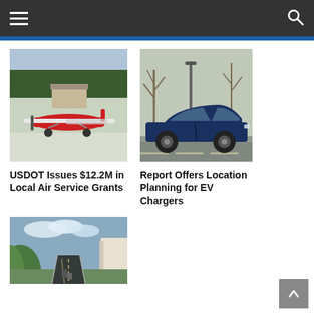Navigation header with hamburger menu and search icon
[Figure (photo): Red and white airplane parked at a small airport with trees and snowy mountains in background]
[Figure (photo): Dark blue electric vehicle (Nissan Leaf) parked in a lot with bare winter trees in background]
USDOT Issues $12.2M in Local Air Service Grants
Report Offers Location Planning for EV Chargers
[Figure (photo): Highway road winding through green hills with white rock cliffs on the right side]